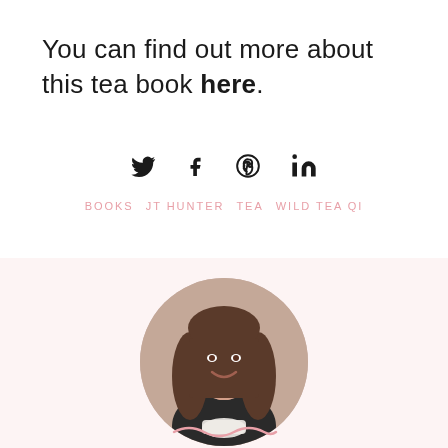You can find out more about this tea book here.
[Figure (infographic): Social media share icons: Twitter, Facebook, Pinterest, LinkedIn]
BOOKS   JT HUNTER   TEA   WILD TEA QI
[Figure (photo): Circular portrait photo of a smiling young woman with straight brown hair, wearing a black top, holding a white teacup and saucer]
[Figure (illustration): Decorative pink squiggle/wave line at the bottom of the page]